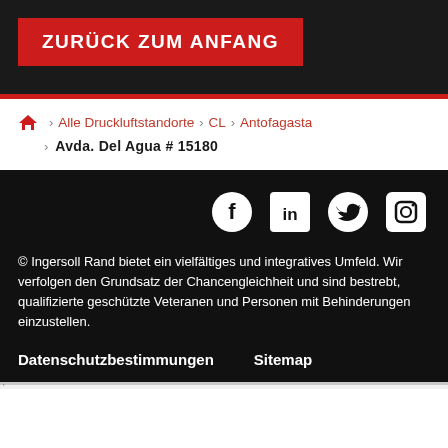ZURÜCK ZUM ANFANG
Alle Druckluftstandorte > CL > Antofagasta > Avda. Del Agua # 15180
[Figure (infographic): Social media icons: Facebook, LinkedIn, Twitter, Instagram]
© Ingersoll Rand bietet ein vielfältiges und integratives Umfeld. Wir verfolgen den Grundsatz der Chancengleichheit und sind bestrebt, qualifizierte geschützte Veteranen und Personen mit Behinderungen einzustellen.
Datenschutzbestimmungen   Sitemap